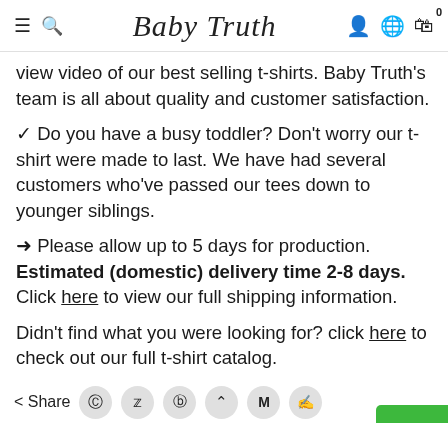Baby Truth
view video of our best selling t-shirts. Baby Truth's team is all about quality and customer satisfaction.
✓ Do you have a busy toddler? Don't worry our t-shirt were made to last. We have had several customers who've passed our tees down to younger siblings.
✈ Please allow up to 5 days for production. Estimated (domestic) delivery time 2-8 days. Click here to view our full shipping information.
Didn't find what you were looking for? click here to check out our full t-shirt catalog.
< Share [Facebook] [Twitter] [Pinterest] [^] [M] [Messenger]